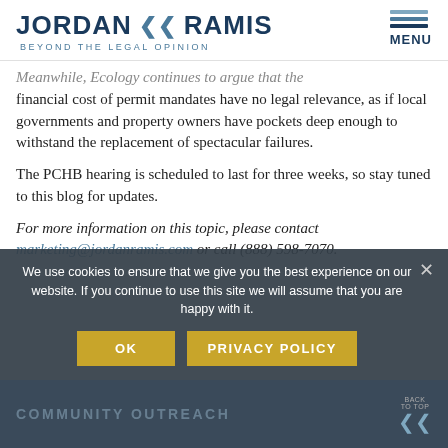JORDAN RAMIS — BEYOND THE LEGAL OPINION
Meanwhile, Ecology continues to argue that the financial cost of permit mandates have no legal relevance, as if local governments and property owners have pockets deep enough to withstand the replacement of spectacular failures.
The PCHB hearing is scheduled to last for three weeks, so stay tuned to this blog for updates.
For more information on this topic, please contact marketing@jordanramis.com or call (888) 598-7070.
We use cookies to ensure that we give you the best experience on our website. If you continue to use this site we will assume that you are happy with it.
COMMUNITY OUTREACH